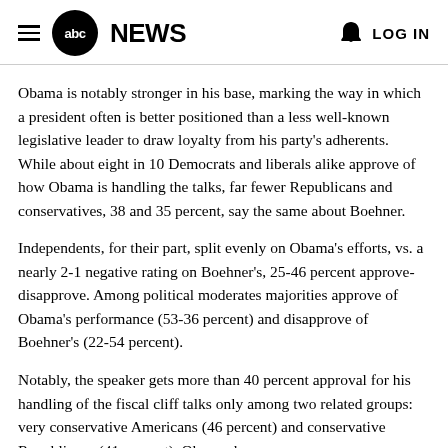abc NEWS | LOG IN
Obama is notably stronger in his base, marking the way in which a president often is better positioned than a less well-known legislative leader to draw loyalty from his party's adherents. While about eight in 10 Democrats and liberals alike approve of how Obama is handling the talks, far fewer Republicans and conservatives, 38 and 35 percent, say the same about Boehner.
Independents, for their part, split evenly on Obama's efforts, vs. a nearly 2-1 negative rating on Boehner's, 25-46 percent approve-disapprove. Among political moderates majorities approve of Obama's performance (53-36 percent) and disapprove of Boehner's (22-54 percent).
Notably, the speaker gets more than 40 percent approval for his handling of the fiscal cliff talks only among two related groups: very conservative Americans (46 percent) and conservative Republicans (41 percent). Obama, by